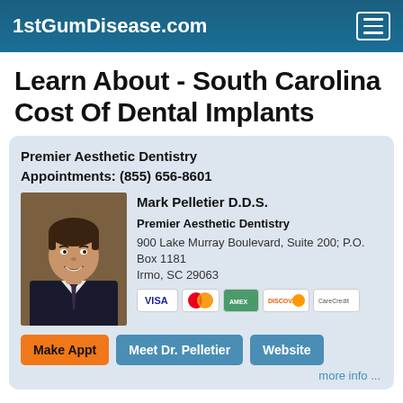1stGumDisease.com
Learn About - South Carolina Cost Of Dental Implants
Premier Aesthetic Dentistry
Appointments: (855) 656-8601
[Figure (photo): Headshot of Dr. Mark Pelletier D.D.S., a male dentist in a dark suit and tie, smiling]
Mark Pelletier D.D.S.
Premier Aesthetic Dentistry
900 Lake Murray Boulevard, Suite 200; P.O. Box 1181
Irmo, SC 29063
[Figure (other): Payment method icons: Visa, MasterCard, American Express, Discover, CareCredit]
Make Appt   Meet Dr. Pelletier   Website
more info ...